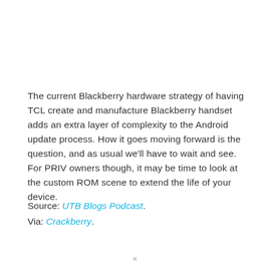The current Blackberry hardware strategy of having TCL create and manufacture Blackberry handset adds an extra layer of complexity to the Android update process. How it goes moving forward is the question, and as usual we'll have to wait and see. For PRIV owners though, it may be time to look at the custom ROM scene to extend the life of your device.
Source: UTB Blogs Podcast. Via: Crackberry.